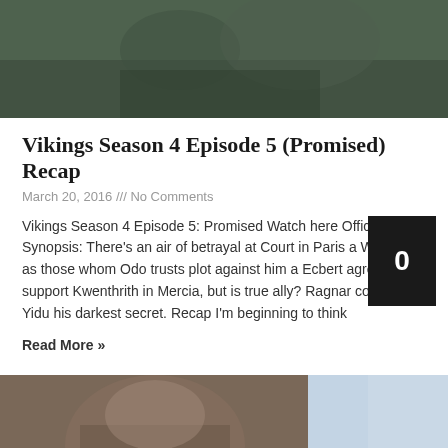[Figure (photo): Dark outdoor photo showing two people, one with long blonde hair, in a natural setting with greenery in background - top portion cropped]
Vikings Season 4 Episode 5 (Promised) Recap
March 20, 2016 /// No Comments
Vikings Season 4 Episode 5: Promised Watch here Official Synopsis: There's an air of betrayal at Court in Paris and Wessex as those whom Odo trusts plot against him and Ecbert agrees to support Kwenthrith in Mercia, but is she his true ally? Ragnar confides in Yidu his darkest secret. Recap I'm beginning to think
Read More »
[Figure (photo): Photo of a young blonde man wearing a large fur coat/cloak, with a window visible on the right side showing a wintry outdoor scene]